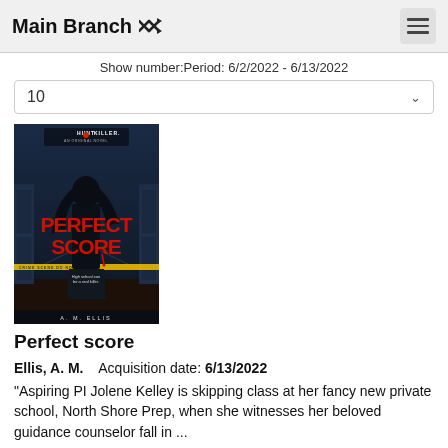Main Branch
Show number:Period: 6/2/2022 - 6/13/2022
10
[Figure (illustration): Book cover for 'Perfect Score' by A. M. Ellis. Hunt a Killer: An Original Novel. Dark thriller cover showing a girl with long dark hair standing in a school hallway, red graffiti-style text reading PERFECT SCORE, crime scene tape, a red hand print, tagline: High school can be a real killer. Author name A. M. ELLIS at bottom.]
Perfect score
Ellis, A. M.    Acquisition date: 6/13/2022
"Aspiring PI Jolene Kelley is skipping class at her fancy new private school, North Shore Prep, when she witnesses her beloved guidance counselor fall in ...
Read more